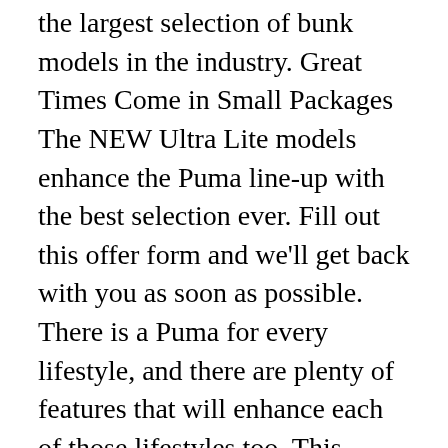the largest selection of bunk models in the industry. Great Times Come in Small Packages The NEW Ultra Lite models enhance the Puma line-up with the best selection ever. Fill out this offer form and we'll get back with you as soon as possible. There is a Puma for every lifestyle, and there are plenty of features that will enhance each of those lifestyles too. This allowed for rapid growth and the introduction of two new towable lines of travel trailers and fifth wheels, Puma and Sabre by Palomino. Read about the experiences consumers and owners have had with 2016 Palomino Puma Travel Trailer RVs and view their reviews and ratings on various aspects of them. It incorporates the latest in industry innovation with customer-